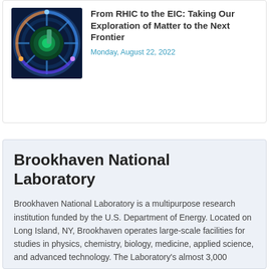[Figure (photo): Photograph of a large circular particle accelerator or detector with colorful illuminated mechanical components, viewed from above or at an angle, showing a complex blue and green lit structure.]
From RHIC to the EIC: Taking Our Exploration of Matter to the Next Frontier
Monday, August 22, 2022
Brookhaven National Laboratory
Brookhaven National Laboratory is a multipurpose research institution funded by the U.S. Department of Energy. Located on Long Island, NY, Brookhaven operates large-scale facilities for studies in physics, chemistry, biology, medicine, applied science, and advanced technology. The Laboratory's almost 3,000